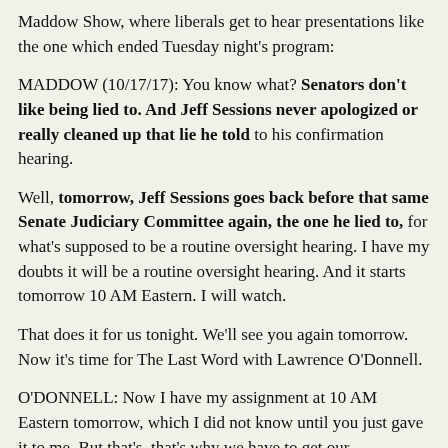Maddow Show, where liberals get to hear presentations like the one which ended Tuesday night's program:
MADDOW (10/17/17): You know what? Senators don't like being lied to. And Jeff Sessions never apologized or really cleaned up that lie he told to his confirmation hearing.
Well, tomorrow, Jeff Sessions goes back before that same Senate Judiciary Committee again, the one he lied to, for what's supposed to be a routine oversight hearing. I have my doubts it will be a routine oversight hearing. And it starts tomorrow 10 AM Eastern. I will watch.
That does it for us tonight. We'll see you again tomorrow. Now it's time for The Last Word with Lawrence O'Donnell.
O'DONNELL: Now I have my assignment at 10 AM Eastern tomorrow, which I did not know until you just gave it to me. But that's, that's why we have to get our